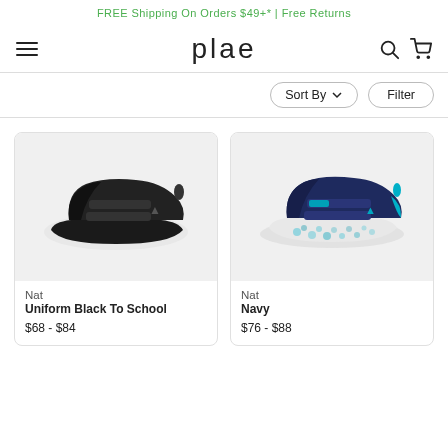FREE Shipping On Orders $49+* | Free Returns
[Figure (logo): plae logo with hamburger menu, search icon, and cart icon]
Sort By   Filter
[Figure (photo): Black children's shoe with velcro straps - Nat Uniform Black To School]
Nat
Uniform Black To School
$68 - $84
[Figure (photo): Navy blue children's shoe with velcro straps and teal accents - Nat Navy]
Nat
Navy
$76 - $88